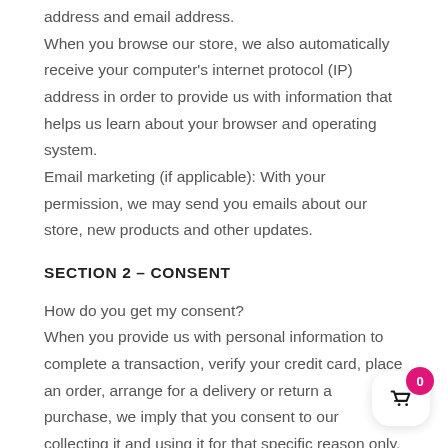address and email address.
When you browse our store, we also automatically receive your computer's internet protocol (IP) address in order to provide us with information that helps us learn about your browser and operating system.
Email marketing (if applicable): With your permission, we may send you emails about our store, new products and other updates.
SECTION 2 – CONSENT
How do you get my consent?
When you provide us with personal information to complete a transaction, verify your credit card, place an order, arrange for a delivery or return a purchase, we imply that you consent to our collecting it and using it for that specific reason only.
If we ask for your personal information for a secondary reason, like marketing, we will either ask you directly